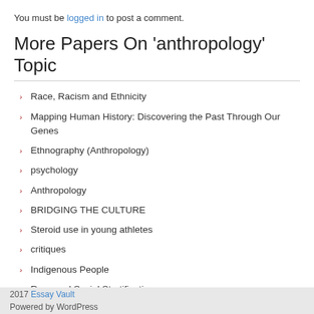You must be logged in to post a comment.
More Papers On 'anthropology' Topic
Race, Racism and Ethnicity
Mapping Human History: Discovering the Past Through Our Genes
Ethnography (Anthropology)
psychology
Anthropology
BRIDGING THE CULTURE
Steroid use in young athletes
critiques
Indigenous People
Race and Social Stratification
2017 Essay Vault
Powered by WordPress